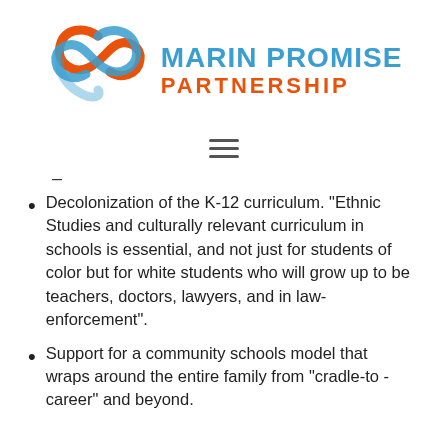[Figure (logo): Marin Promise Partnership logo with interlocking ribbon graphic in red/orange and blue, with text MARIN PROMISE in blue and PARTNERSHIP in orange]
[Figure (other): Hamburger menu icon (three horizontal lines)]
- (partial/truncated bullet item above)
Decolonization of the K-12 curriculum. “Ethnic Studies and culturally relevant curriculum in schools is essential, and not just for students of color but for white students who will grow up to be teachers, doctors, lawyers, and in law-enforcement”.
Support for a community schools model that wraps around the entire family from “cradle-to - career” and beyond.